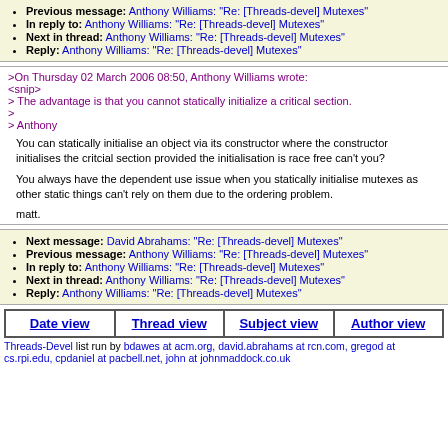Previous message: Anthony Williams: "Re: [Threads-devel] Mutexes"
In reply to: Anthony Williams: "Re: [Threads-devel] Mutexes"
Next in thread: Anthony Williams: "Re: [Threads-devel] Mutexes"
Reply: Anthony Williams: "Re: [Threads-devel] Mutexes"
>On Thursday 02 March 2006 08:50, Anthony Williams wrote:
<snip>
> The advantage is that you cannot statically initialize a critical section.
>
> Anthony
You can statically initialise an object via its constructor where the constructor initialises the critcial section provided the initialisation is race free can't you?
You always have the dependent use issue when you statically initialise mutexes as other static things can't rely on them due to the ordering problem.
matt.
Next message: David Abrahams: "Re: [Threads-devel] Mutexes"
Previous message: Anthony Williams: "Re: [Threads-devel] Mutexes"
In reply to: Anthony Williams: "Re: [Threads-devel] Mutexes"
Next in thread: Anthony Williams: "Re: [Threads-devel] Mutexes"
Reply: Anthony Williams: "Re: [Threads-devel] Mutexes"
Date view | Thread view | Subject view | Author view
Threads-Devel list run by bdawes at acm.org, david.abrahams at rcn.com, gregod at cs.rpi.edu, cpdaniel at pacbell.net, john at johnmaddock.co.uk